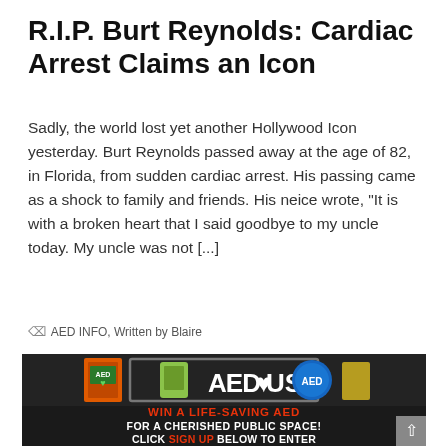R.I.P. Burt Reynolds: Cardiac Arrest Claims an Icon
Sadly, the world lost yet another Hollywood Icon yesterday. Burt Reynolds passed away at the age of 82, in Florida, from sudden cardiac arrest. His passing came as a shock to family and friends. His neice wrote, "It is with a broken heart that I said goodbye to my uncle today. My uncle was not [...]
By AED INFO, Written by Blaire
[Figure (photo): AED.US advertisement banner showing AED devices and text: WIN A LIFE-SAVING AED FOR A CHERISHED PUBLIC SPACE! CLICK SIGN UP BELOW TO ENTER]